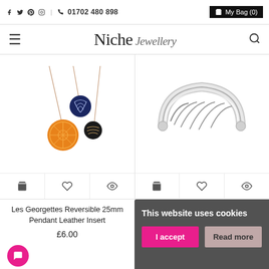f  Twitter  Pinterest  Instagram  |  Phone  01702 480 898  |  My Bag (0)
Niche Jewellery
[Figure (photo): Two reversible pendant necklaces on chains - one with orange floral pattern, one with navy/black stripe pattern - Les Georgettes style]
[Figure (photo): Silver filigree arc/rainbow pattern open bangle bracelet]
Les Georgettes Reversible 25mm Pendant Leather Insert
£6.00
This website uses cookies
I accept
Read more